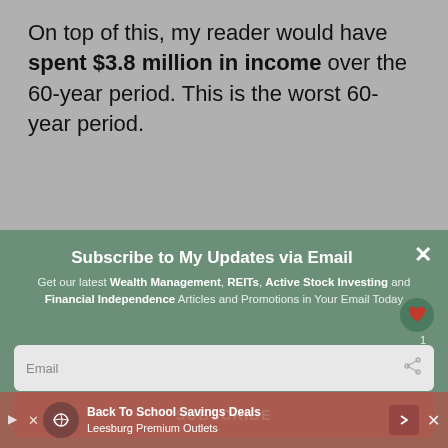On top of this, my reader would have spent $3.8 million in income over the 60-year period. This is the worst 60-year period.
Subscribe to My Updates via Email
Get our latest Wealth Management, REITs, Active Stock Investing and Financial Independence Articles and Promotions in Your Email Today
Email
SUBSCRIBE
Back To School Savings Deals
Leesburg Premium Outlets